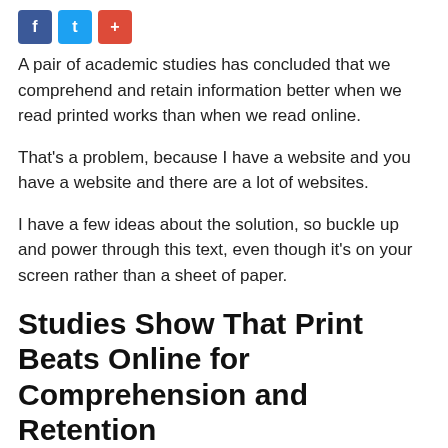[Figure (other): Three social sharing buttons: Facebook (blue), Twitter (light blue), and Google+ (red)]
A pair of academic studies has concluded that we comprehend and retain information better when we read printed works than when we read online.
That's a problem, because I have a website and you have a website and there are a lot of websites.
I have a few ideas about the solution, so buckle up and power through this text, even though it's on your screen rather than a sheet of paper.
Studies Show That Print Beats Online for Comprehension and Retention
Researchers at San Diego State University found that readers of the New York Times print edition remembered significantly more stories, facts, and ideas than online news readers did.¹ They conclude that this is true because print